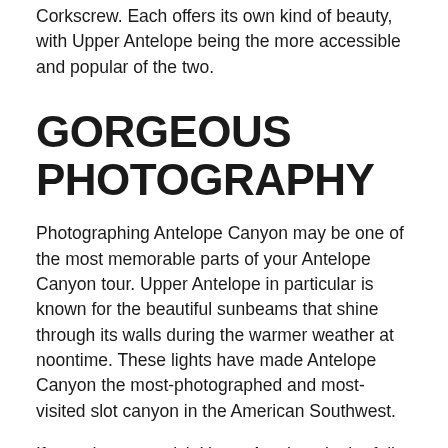Corkscrew. Each offers its own kind of beauty, with Upper Antelope being the more accessible and popular of the two.
GORGEOUS PHOTOGRAPHY
Photographing Antelope Canyon may be one of the most memorable parts of your Antelope Canyon tour. Upper Antelope in particular is known for the beautiful sunbeams that shine through its walls during the warmer weather at noontime. These lights have made Antelope Canyon the most-photographed and most-visited slot canyon in the American Southwest.
If you choose to visit Upper Antelope in the fall or winter, you will be in for another treat—gorgeous